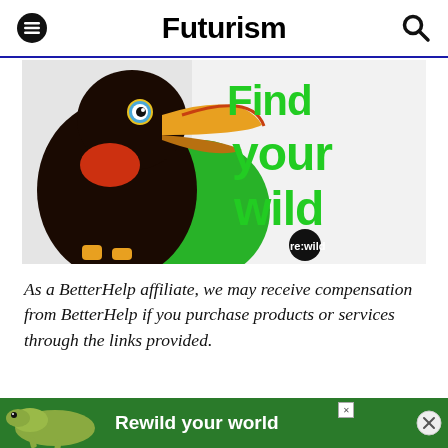Futurism
[Figure (illustration): Advertisement image showing a toucan bird on the left with 'Find your wild' text in green on the right, and 're:wild' logo at bottom right, on a light grey background.]
As a BetterHelp affiliate, we may receive compensation from BetterHelp if you purchase products or services through the links provided.
Couples counseling is viewed by many as a last
[Figure (illustration): Bottom advertisement banner with green background showing a lizard on left and text 'Rewild your world' in white bold font.]